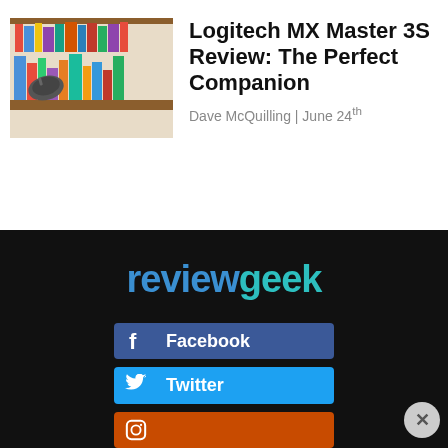[Figure (photo): Photo of a Logitech MX Master 3S mouse on a wooden bookshelf filled with books]
Logitech MX Master 3S Review: The Perfect Companion
Dave McQuilling | June 24th
[Figure (logo): Review Geek logo in blue and teal on black background]
Facebook
Twitter